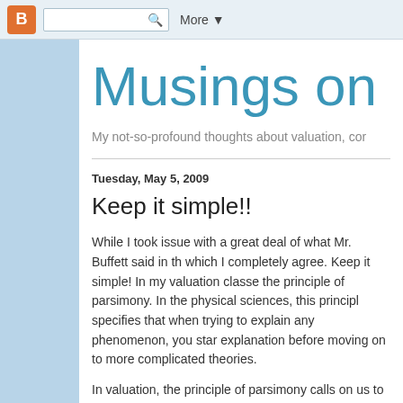Blogger navbar with search bar and More button
Musings on M
My not-so-profound thoughts about valuation, cor
Tuesday, May 5, 2009
Keep it simple!!
While I took issue with a great deal of what Mr. Buffett said in th which I completely agree. Keep it simple! In my valuation classe the principle of parsimony. In the physical sciences, this principl specifies that when trying to explain any phenomenon, you star explanation before moving on to more complicated theories.
In valuation, the principle of parsimony calls on us to use the si